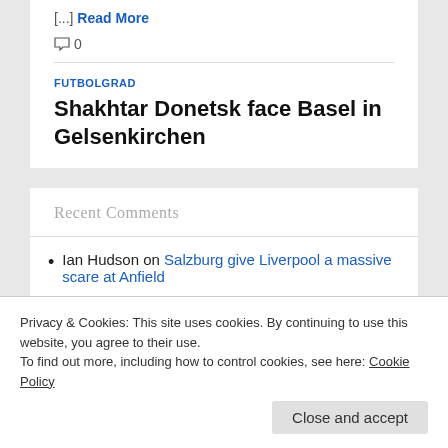[...] Read More
0
FUTBOLGRAD
Shakhtar Donetsk face Basel in Gelsenkirchen
Recent Comments
Ian Hudson on Salzburg give Liverpool a massive scare at Anfield
Privacy & Cookies: This site uses cookies. By continuing to use this website, you agree to their use.
To find out more, including how to control cookies, see here: Cookie Policy
Close and accept